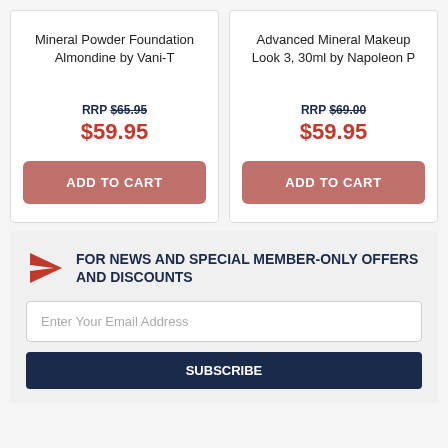Mineral Powder Foundation Almondine by Vani-T
RRP $65.95
$59.95
ADD TO CART
Advanced Mineral Makeup Look 3, 30ml by Napoleon P
RRP $69.00
$59.95
ADD TO CART
FOR NEWS AND SPECIAL MEMBER-ONLY OFFERS AND DISCOUNTS
Enter Your Email Address